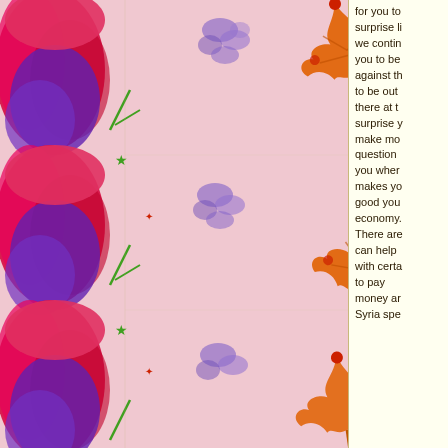[Figure (illustration): Decorative illustration showing repeated pattern of autumn maple leaves (orange and red) on a pink textured background, with abstract purple and red brushstroke art on the left edge, repeated three times vertically.]
for you to surprise li we contin you to be against th to be out there at t surprise y make mo question you wher makes yo good you economy. There are can help with certa to pay money ar Syria spe